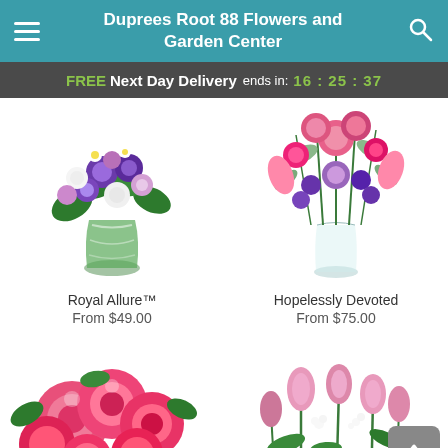Duprees Root 88 Flowers and Garden Center
FREE Next Day Delivery ends in: 16 : 25 : 37
[Figure (photo): Purple, white and lavender floral bouquet in a green swirled vase]
Royal Allure™
From $49.00
[Figure (photo): Pink and purple tall floral arrangement in a clear glass vase]
Hopelessly Devoted
From $75.00
[Figure (photo): Pink roses bouquet, partially visible at bottom of page]
[Figure (photo): Pink tulips and mixed floral arrangement, partially visible at bottom of page]